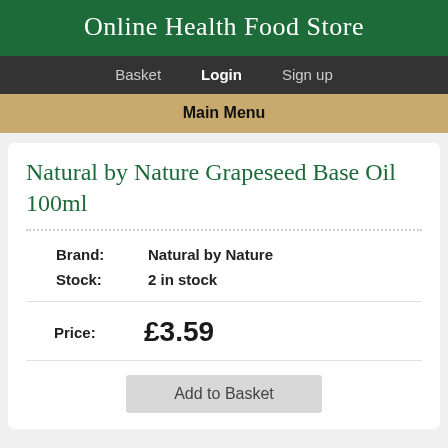Online Health Food Store
Basket  Login  Sign up
Main Menu
Natural by Nature Grapeseed Base Oil 100ml
| Field | Value |
| --- | --- |
| Brand: | Natural by Nature |
| Stock: | 2 in stock |
Price:  £3.59
Add to Basket